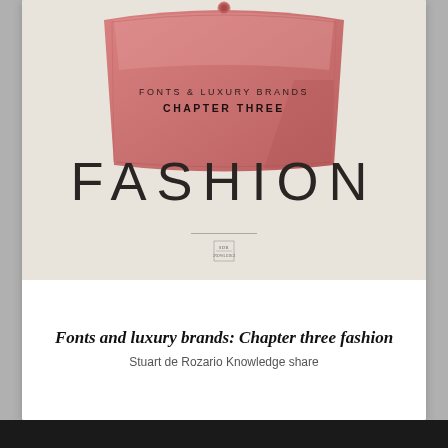[Figure (illustration): Cover image of a pink/dusty-rose leather cosmetics bag or purse on a warm beige/cream background. The bag has text on it reading 'FONTS & LUXURY BRANDS' and 'CHAPTER THREE'. Below the bag, in large thin letters, is the word 'FASHION'. A thin horizontal line and a small decorative logo/monogram appear below the word FASHION.]
Fonts and luxury brands: Chapter three fashion
Stuart de Rozario Knowledge share